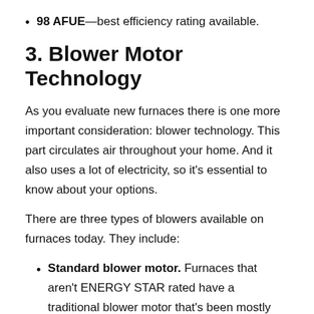98 AFUE—best efficiency rating available.
3. Blower Motor Technology
As you evaluate new furnaces there is one more important consideration: blower technology. This part circulates air throughout your home. And it also uses a lot of electricity, so it's essential to know about your options.
There are three types of blowers available on furnaces today. They include:
Standard blower motor. Furnaces that aren't ENERGY STAR rated have a traditional blower motor that's been mostly the same for the past 30 years. This motor is the least